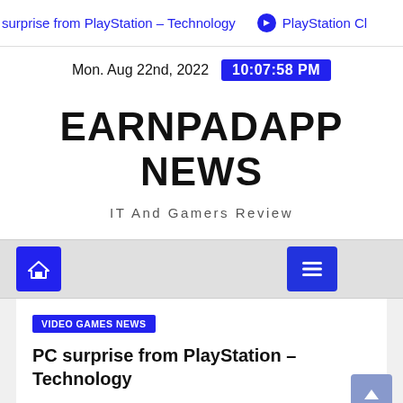surprise from PlayStation – Technology   → PlayStation Cl
Mon. Aug 22nd, 2022  10:07:58 PM
EARNPADAPP NEWS
IT And Gamers Review
[Figure (screenshot): Navigation bar with home icon button (blue) and hamburger menu icon button (blue)]
VIDEO GAMES NEWS
PC surprise from PlayStation – Technology